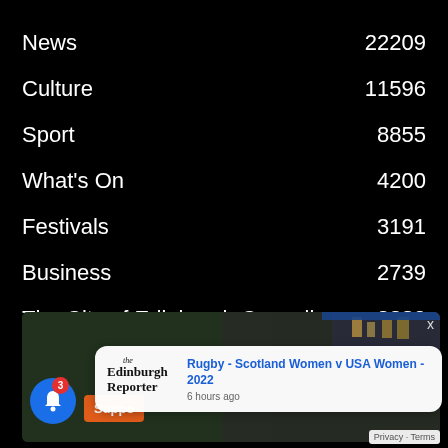News  22209
Culture  11596
Sport  8855
What's On  4200
Festivals  3191
Business  2739
The City of Edinburgh Council  2380
The Scottish Parliament  1461
Charity News  1256
[Figure (screenshot): Screenshot of Edinburgh Reporter website with notification popup showing 'Rugby - Scotland Women v USA Women - 2022' published 6 hours ago, a bell notification icon with badge showing 3, and a partial orange Support button]
Rugby - Scotland Women v USA Women - 2022
6 hours ago
Privacy - Terms